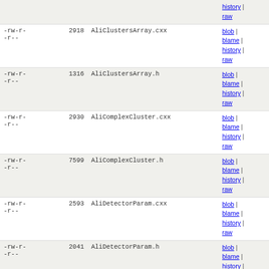| permissions | size | filename | links |
| --- | --- | --- | --- |
| -rw-r--r-- |  | history | raw (partial top) |
| -rw-r--r-- | 2918 | AliClustersArray.cxx | blob | blame | history | raw |
| -rw-r--r-- | 1316 | AliClustersArray.h | blob | blame | history | raw |
| -rw-r--r-- | 2930 | AliComplexCluster.cxx | blob | blame | history | raw |
| -rw-r--r-- | 7599 | AliComplexCluster.h | blob | blame | history | raw |
| -rw-r--r-- | 2593 | AliDetectorParam.cxx | blob | blame | history | raw |
| -rw-r--r-- | 2041 | AliDetectorParam.h | blob | blame | history | raw |
| -rw-r--r-- | 2151 | AliDigitsArray.cxx | blob | blame | history | raw |
| -rw-r--r-- | 882 | AliDigitsArray.h | blob | blame | history | raw |
| -rw-r--r-- | 17480 | AliHelix.cxx | blob | blame | history | raw |